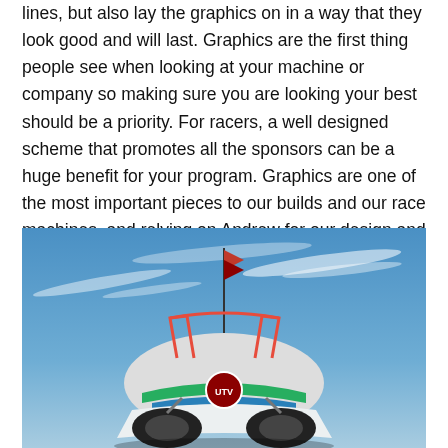lines, but also lay the graphics on in a way that they look good and will last. Graphics are the first thing people see when looking at your machine or company so making sure you are looking your best should be a priority. For racers, a well designed scheme that promotes all the sponsors can be a huge benefit for your program. Graphics are one of the most important pieces to our builds and our race machines, and relying on Andrew for our design and printing needs has been a huge asset to UTVUnderground.com.
[Figure (photo): A UTV/off-road buggy with white, green, and black graphics featuring a 'UTV' logo, photographed from a low angle against a blue sky with wispy clouds. A red flag is mounted on a tall pole above the vehicle.]